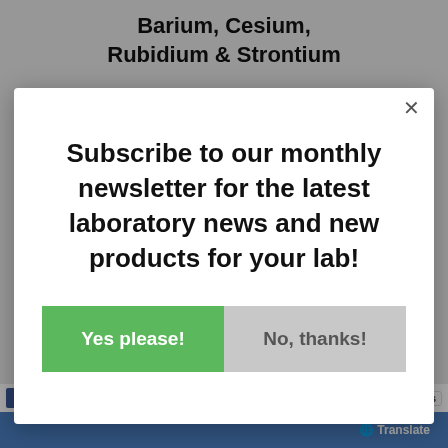Barium, Cesium, Rubidium & Strontium
Subscribe to our monthly newsletter for the latest laboratory news and new products for your lab!
Yes please!
No, thanks!